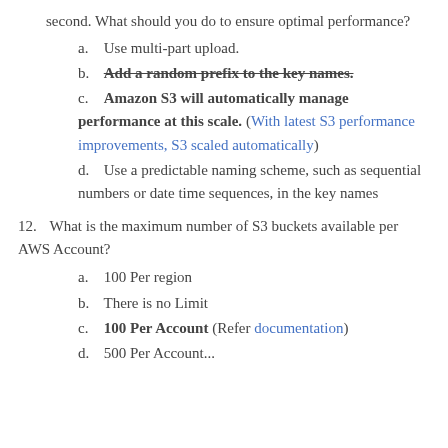second. What should you do to ensure optimal performance?
a. Use multi-part upload.
b. Add a random prefix to the key names. [strikethrough bold]
c. Amazon S3 will automatically manage performance at this scale. (With latest S3 performance improvements, S3 scaled automatically)
d. Use a predictable naming scheme, such as sequential numbers or date time sequences, in the key names
12. What is the maximum number of S3 buckets available per AWS Account?
a. 100 Per region
b. There is no Limit
c. 100 Per Account (Refer documentation)
d. 500 Per Account...